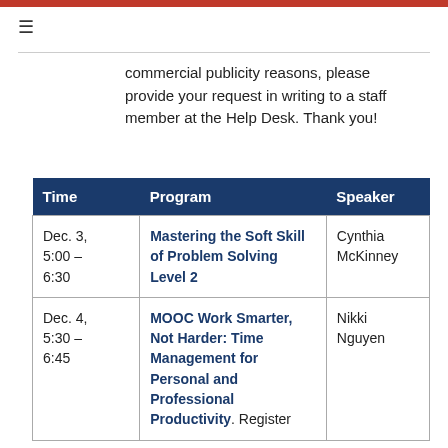commercial publicity reasons, please provide your request in writing to a staff member at the Help Desk. Thank you!
| Time | Program | Speaker |
| --- | --- | --- |
| Dec. 3, 5:00 – 6:30 | Mastering the Soft Skill of Problem Solving Level 2 | Cynthia McKinney |
| Dec. 4, 5:30 – 6:45 | MOOC Work Smarter, Not Harder: Time Management for Personal and Professional Productivity. Register | Nikki Nguyen |